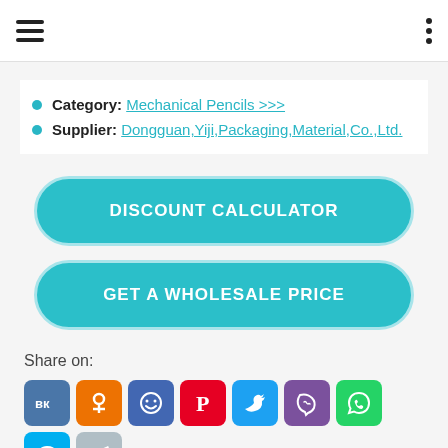Navigation bar with hamburger menu and vertical dots menu
Category: Mechanical Pencils >>>
Supplier: Dongguan,Yiji,Packaging,Material,Co.,Ltd.
[Figure (other): DISCOUNT CALCULATOR button - large teal rounded rectangle button]
[Figure (other): GET A WHOLESALE PRICE button - large teal rounded rectangle button]
Share on:
[Figure (other): Social sharing icons: VK, OK, smiley/FB, Pinterest, Twitter, Viber, WhatsApp, Skype, Telegram]